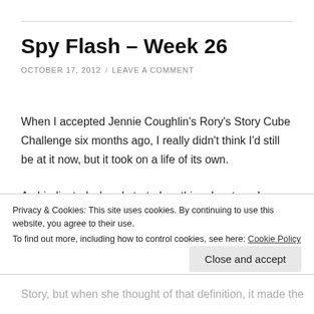Spy Flash – Week 26
OCTOBER 17, 2012 / LEAVE A COMMENT
When I accepted Jennie Coughlin's Rory's Story Cube Challenge six months ago, I really didn't think I'd still be at it now, but it took on a life of its own.
As I indicated when I started on this adventure, I looked upon it as an opportunity to flesh out back story on two characters I
Privacy & Cookies: This site uses cookies. By continuing to use this website, you agree to their use.
To find out more, including how to control cookies, see here: Cookie Policy
Close and accept
Story, but when she thought of that definition, it made the